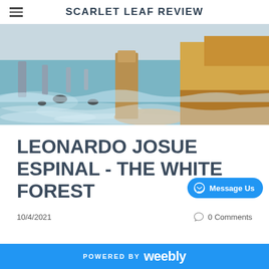SCARLET LEAF REVIEW
[Figure (photo): Coastal landscape with tall rock stacks rising from ocean waves, sandy beach, and golden limestone cliffs in the background (Twelve Apostles, Great Ocean Road, Australia)]
LEONARDO JOSUE ESPINAL - THE WHITE FOREST
10/4/2021
0 Comments